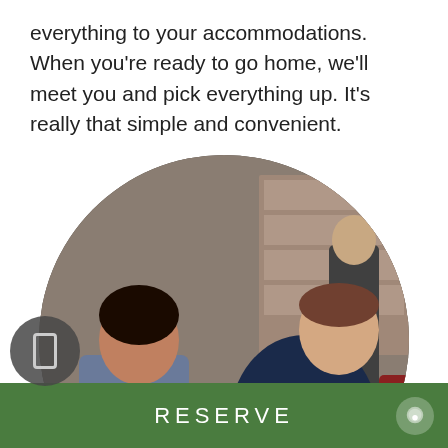everything to your accommodations. When you're ready to go home, we'll meet you and pick everything up. It's really that simple and convenient.
[Figure (photo): A man in a dark navy jacket kneeling on the floor fitting or adjusting ski boots for a customer seated on a leather couch. An indoor shop or lodge setting with shelving in the background. Another person stands in the background.]
RESERVE